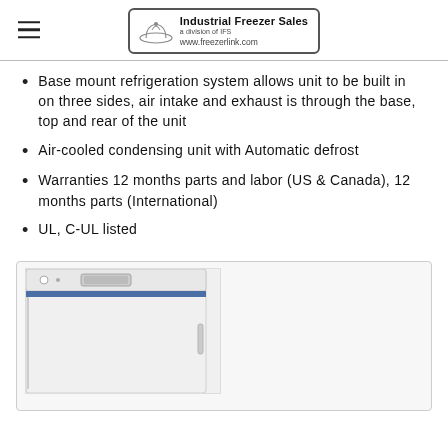Industrial Freezer Sales - www.freezerlink.com
Base mount refrigeration system allows unit to be built in on three sides, air intake and exhaust is through the base, top and rear of the unit
Air-cooled condensing unit with Automatic defrost
Warranties 12 months parts and labor (US & Canada), 12 months parts (International)
UL, C-UL listed
[Figure (photo): White upright freezer unit with digital display panel visible at top, shown at an angle]